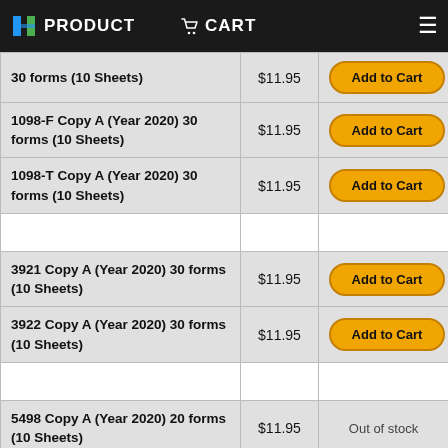H PRODUCT  CART  ☰
| Product | Price | Action |
| --- | --- | --- |
| [partial] Copy A (Year ...) 30 forms (10 Sheets) | $11.95 | Add to Cart |
| 1098-F Copy A (Year 2020) 30 forms (10 Sheets) | $11.95 | Add to Cart |
| 1098-T Copy A (Year 2020) 30 forms (10 Sheets) | $11.95 | Add to Cart |
|  |  |  |
| 3921 Copy A (Year 2020) 30 forms (10 Sheets) | $11.95 | Add to Cart |
| 3922 Copy A (Year 2020) 30 forms (10 Sheets) | $11.95 | Add to Cart |
|  |  |  |
| 5498 Copy A (Year 2020) 20 forms (10 Sheets) | $11.95 | Out of stock |
| 5498 ESA Copy A (Year 2020) |  |  |